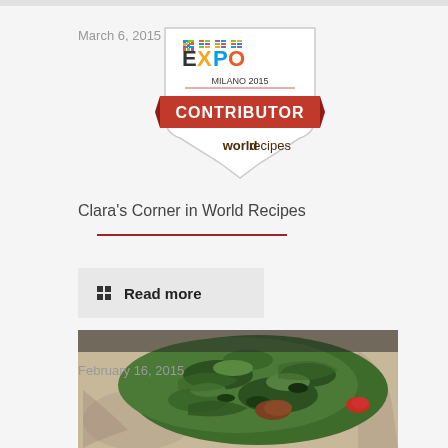March 6, 2015
[Figure (logo): EXPO MILANO 2015 CONTRIBUTOR world recipes badge]
Clara's Corner in World Recipes
Read more
February 16, 2015
[Figure (photo): Photo of green spinach-based dish with meat pieces on a decorative plate]